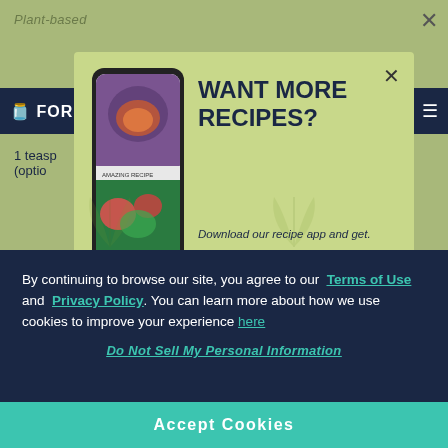Plant-based
[Figure (screenshot): Recipe app modal popup with phone image showing food photos, green background, title 'WANT MORE RECIPES?', and subtitle 'Download our recipe app and get.']
WANT MORE RECIPES?
Download our recipe app and get.
By continuing to browse our site, you agree to our Terms of Use and Privacy Policy. You can learn more about how we use cookies to improve your experience here
Do Not Sell My Personal Information
Accept Cookies